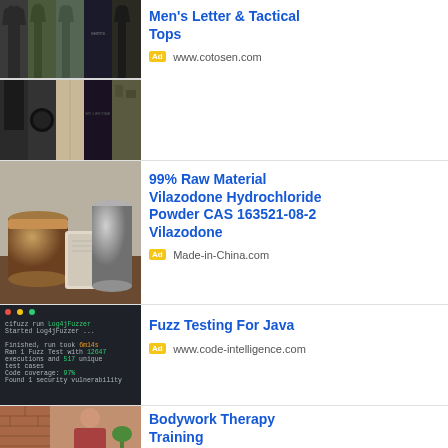[Figure (photo): Grid of military/tactical men's clothing items including shirts, shorts, pants in olive green and dark colors]
Men's Letter & Tactical Tops
Ad www.cotosen.com
[Figure (photo): Chemical powder product with silver/metallic canisters and a brown jar on a dark surface]
99% Raw Material Vilazodone Hydrochloride Powder CAS 163521-08-2 Vilazodone
Ad Made-in-China.com
[Figure (screenshot): Terminal/code window showing cifuzz run Log4jFuzzer command output with green highlighted text showing test results]
Fuzz Testing For Java
Ad www.code-intelligence.com
[Figure (photo): Woman doing bodywork therapy or massage near a brick wall]
Bodywork Therapy Training